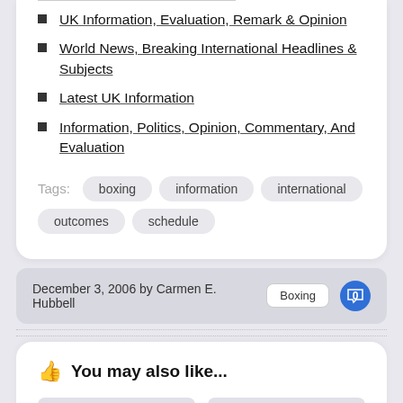UK Information, Evaluation, Remark & Opinion
World News, Breaking International Headlines & Subjects
Latest UK Information
Information, Politics, Opinion, Commentary, And Evaluation
Tags: boxing  information  international  outcomes  schedule
December 3, 2006 by Carmen E. Hubbell   Boxing   0
You may also like...